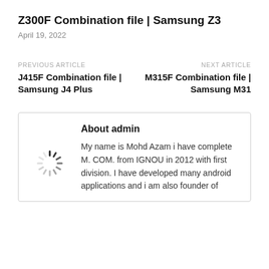Z300F Combination file | Samsung Z3
April 19, 2022
PREVIOUS ARTICLE
J415F Combination file | Samsung J4 Plus
NEXT ARTICLE
M315F Combination file | Samsung M31
About admin
My name is Mohd Azam i have complete M. COM. from IGNOU in 2012 with first division. I have developed many android applications and i am also founder of